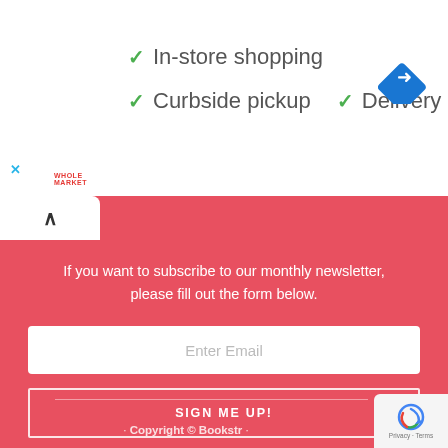[Figure (logo): Whole Market logo text in red]
✓ In-store shopping
✓ Curbside pickup  ✓ Delivery
[Figure (logo): Google Maps blue diamond navigation icon]
If you want to subscribe to our monthly newsletter, please fill out the form below.
Enter Email
SIGN ME UP!
· Copyright © Bookstr ·
[Figure (logo): reCAPTCHA badge with Privacy - Terms]